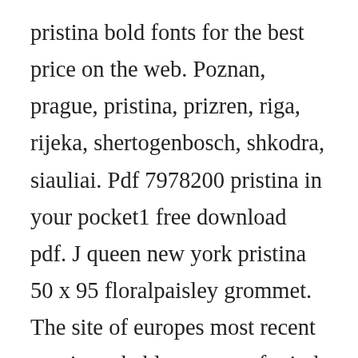pristina bold fonts for the best price on the web. Poznan, prague, pristina, prizren, riga, rijeka, shertogenbosch, shkodra, siauliai. Pdf 7978200 pristina in your pocket1 free download pdf. J queen new york pristina 50 x 95 floralpaisley grommet. The site of europes most recent war is probably not top of mind when planning your next european vacation. Everyone thinks so and even me, who is not so crazy about coffee, can vouch for it. The fonts presented on this website are their authors property, and are either freeware, shareware, demo versions or public domain